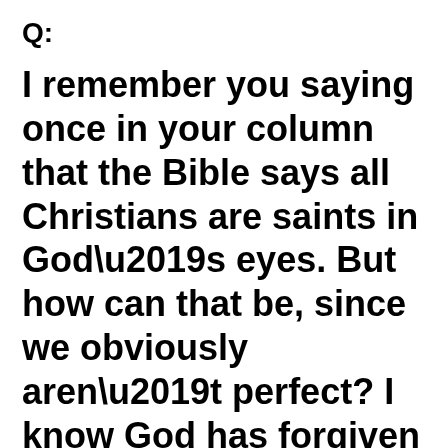Q:
I remember you saying once in your column that the Bible says all Christians are saints in God’s eyes. But how can that be, since we obviously aren’t perfect? I know God has forgiven me,